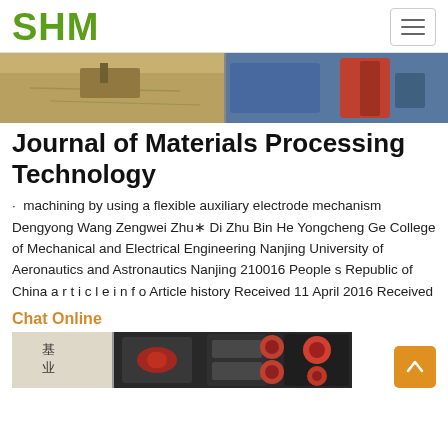SHM
[Figure (photo): Top banner image showing construction/quarry machinery and aggregates, split into two panels]
Journal of Materials Processing Technology
· machining by using a flexible auxiliary electrode mechanism Dengyong Wang Zengwei Zhu* Di Zhu Bin He Yongcheng Ge College of Mechanical and Electrical Engineering Nanjing University of Aeronautics and Astronautics Nanjing 210016 People s Republic of China a r t i c l e i n f o Article history Received 11 April 2016 Received
Chat Online
[Figure (photo): Bottom image showing industrial grinding/milling machines and equipment in dark industrial setting with Chinese characters]